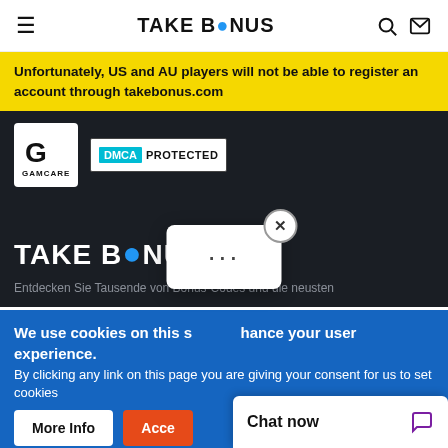TAKE BONUS
Unfortunately, US and AU players will not be able to register an account through takebonus.com
[Figure (logo): GamCare logo badge and DMCA Protected badge]
[Figure (logo): TAKE BONUS dark background logo]
Entdecken Sie Tausende von Bonus-Codes und die neusten
We use cookies on this site to enhance your user experience.
By clicking any link on this page you are giving your consent for us to set cookies
Chat now